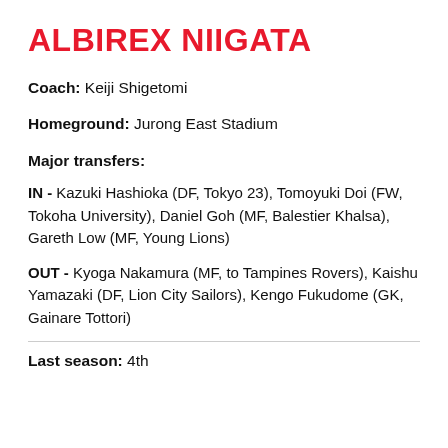ALBIREX NIIGATA
Coach: Keiji Shigetomi
Homeground: Jurong East Stadium
Major transfers:
IN - Kazuki Hashioka (DF, Tokyo 23), Tomoyuki Doi (FW, Tokoha University), Daniel Goh (MF, Balestier Khalsa), Gareth Low (MF, Young Lions)
OUT - Kyoga Nakamura (MF, to Tampines Rovers), Kaishu Yamazaki (DF, Lion City Sailors), Kengo Fukudome (GK, Gainare Tottori)
Last season: 4th